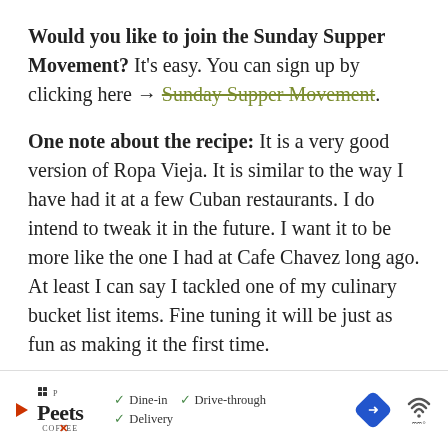Would you like to join the Sunday Supper Movement? It's easy. You can sign up by clicking here → Sunday Supper Movement.
One note about the recipe: It is a very good version of Ropa Vieja. It is similar to the way I have had it at a few Cuban restaurants. I do intend to tweak it in the future. I want it to be more like the one I had at Cafe Chavez long ago. At least I can say I tackled one of my culinary bucket list items. Fine tuning it will be just as fun as making it the first time.
[Figure (photo): Partial view of a plate or bowl with food, cropped at bottom of content area]
[Figure (other): Advertisement banner for Peet's Coffee showing Dine-in, Drive-through, and Delivery options with a navigation arrow icon]